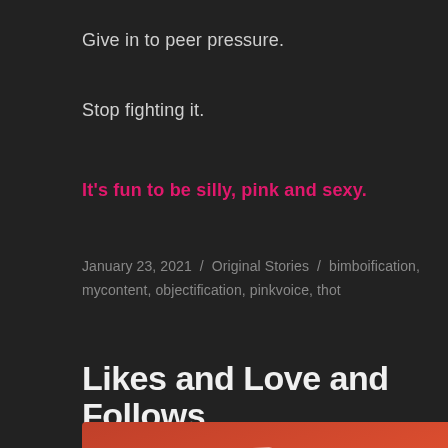Give in to peer pressure.
Stop fighting it.
It's fun to be silly, pink and sexy.
January 23, 2021  /  Original Stories  /  bimboification, mycontent, objectification, pinkvoice, thot
Likes and Love and Follows
[Figure (photo): Reddish-orange background image with a white speech bubble containing text: 'When u just tryna cosplay something innocent but u have a massive issue']